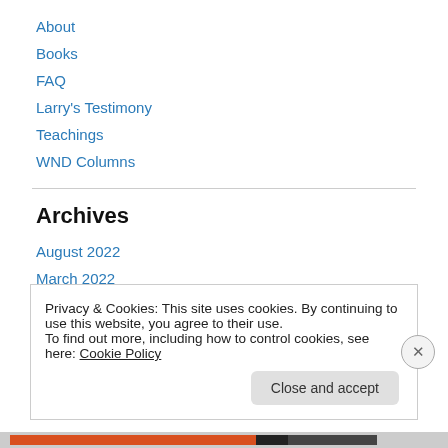About
Books
FAQ
Larry's Testimony
Teachings
WND Columns
Archives
August 2022
March 2022
February 2022
Privacy & Cookies: This site uses cookies. By continuing to use this website, you agree to their use.
To find out more, including how to control cookies, see here: Cookie Policy